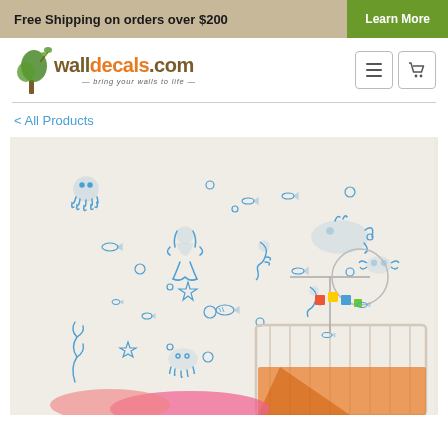Free Shipping on orders over $200  Learn More
[Figure (logo): WallDecals.com logo with tree illustration and tagline 'bring your walls to life']
< All Products
[Figure (photo): Product photo showing blue ocean-themed wall decals (mermaid, octopus, whale, seahorse, fish, bubbles, starfish) applied to a nursery wall with baby crib and mobile in foreground]